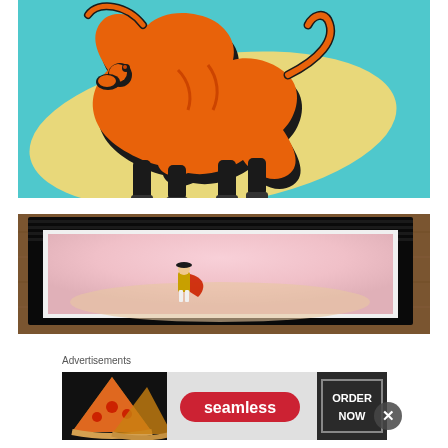[Figure (illustration): Orange bull graphic on teal/cyan background with cream colored skateboard shape. The bull is rendered in orange and black, charging pose, stylized pop-art style.]
[Figure (photo): Framed artwork in a black frame on wooden background. The framed piece shows a matador/bullfighter figure on a pink/light background, partially visible.]
Advertisements
[Figure (screenshot): Advertisement banner for Seamless food ordering service. Shows pizza slices on left, Seamless logo in center on red pill shape, and 'ORDER NOW' button on right with white border.]